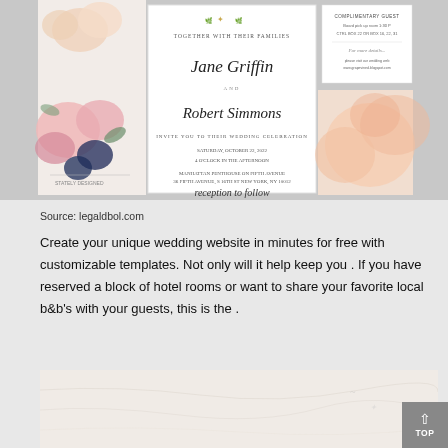[Figure (photo): Wedding invitation collage showing floral invitation card with names Jane Griffin and Robert Simmons, along with floral decorations and a complementary guest card]
Source: legaldbol.com
Create your unique wedding website in minutes for free with customizable templates. Not only will it help keep you . If you have reserved a block of hotel rooms or want to share your favorite local b&b's with your guests, this is the .
[Figure (photo): Light marble or paper texture background image]